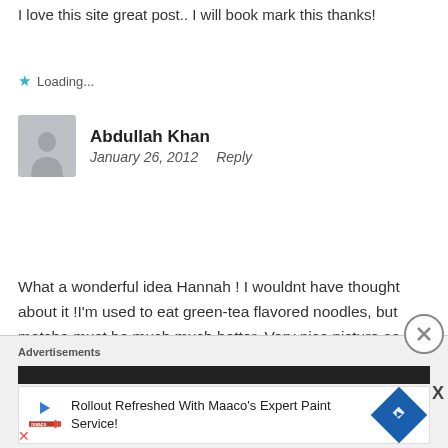I love this site great post.. I will book mark this thanks!
Loading...
Abdullah Khan
January 26, 2012   Reply
What a wonderful idea Hannah ! I wouldnt have thought about it !I'm used to eat green-tea flavored noodles, but matcha must be much much better. Very nice picture as usual !
Loading...
Advertisements
Rollout Refreshed With Maaco's Expert Paint Service!